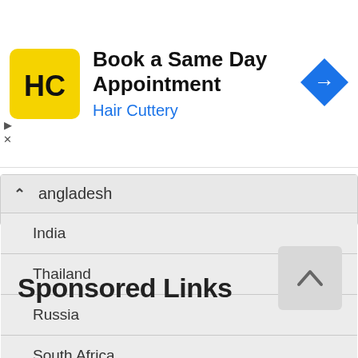[Figure (screenshot): Advertisement banner for Hair Cuttery: 'Book a Same Day Appointment' with yellow HC logo and blue navigation arrow icon]
Bangladesh
India
Thailand
Russia
South Africa
Sponsored Links